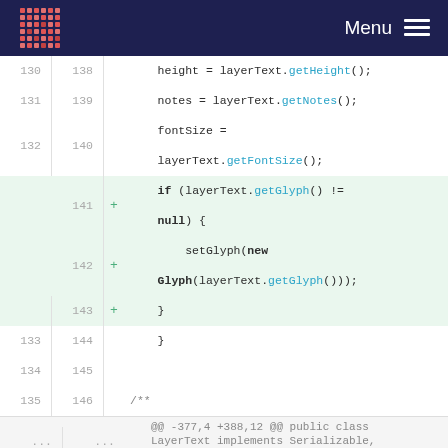Menu
[Figure (screenshot): Code diff view showing Java source code with line numbers, added lines highlighted in green, and a hunk separator. Lines 130-143 show height/notes/fontSize assignment and a new if-block for getGlyph(). Lines 133-146 show closing braces and a comment. A hunk separator shows @@ -377,4 +388,12 @@ public class LayerText implements Serializable, Drawable {. Lines 377-391 show a return statement and a new public Glyph getGlyph() method.]